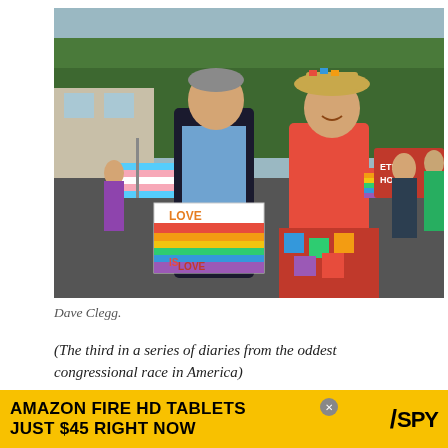[Figure (photo): Two people walking in a Pride parade. A man in a dark blazer holding a rainbow 'Love is Love' sign and a transgender pride flag. A woman in a red outfit and colorful hat holding a small rainbow flag. Crowd and a red banner visible in the background.]
Dave Clegg.
(The third in a series of diaries from the oddest congressional race in America)
Friday, June 8th, Kinderhook, New York. Dave
[Figure (infographic): Advertisement banner: AMAZON FIRE HD TABLETS JUST $45 RIGHT NOW / SPY logo]